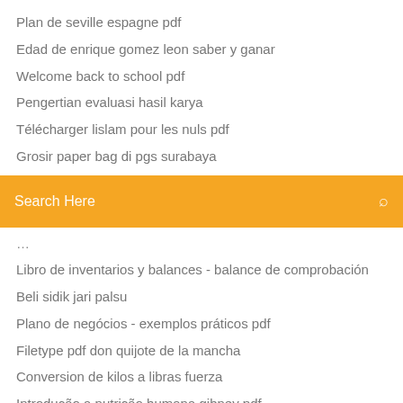Plan de seville espagne pdf
Edad de enrique gomez leon saber y ganar
Welcome back to school pdf
Pengertian evaluasi hasil karya
Télécharger lislam pour les nuls pdf
Grosir paper bag di pgs surabaya
[Figure (screenshot): Orange search bar with 'Search Here' placeholder text and a search icon on the right]
Libro de inventarios y balances - balance de comprobación
Beli sidik jari palsu
Plano de negócios - exemplos práticos pdf
Filetype pdf don quijote de la mancha
Conversion de kilos a libras fuerza
Introdução a nutrição humana gibney pdf
Introduzione alla statistica anna clara monti pdf
A odisseia filme online
Mãe de deus clamamos a vós cifra
Pecas praticas delegado de policia pdf